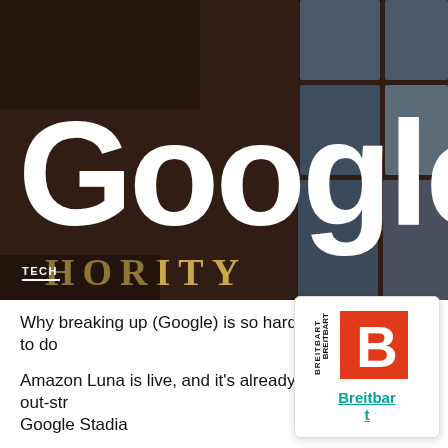[Figure (photo): Photo of Google sign on a brick building exterior, large white 3D Google letters mounted on building facade, with 'HORITY' gold letters below. TECH label with white underline in bottom left corner of photo.]
Why breaking up (Google) is so hard to do
Amazon Luna is live, and it's already out-str Google Stadia
Review: The Haunting of Bly Manor is a per splendid ghost story
[Figure (logo): Breitbart logo: orange/red square with white bold B letter, with BREITBART text vertically on left side. Below: 'Breitbart' as teal/green hyperlink text.]